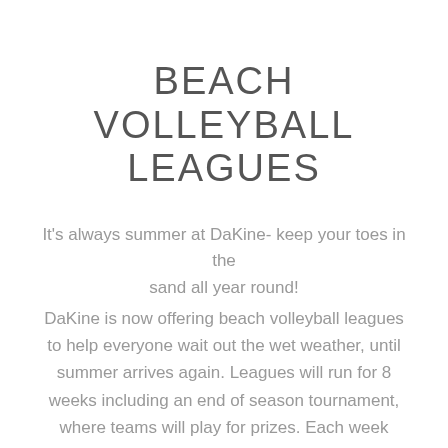BEACH VOLLEYBALL LEAGUES
It's always summer at DaKine- keep your toes in the sand all year round!
DaKine is now offering beach volleyball leagues to help everyone wait out the wet weather, until summer arrives again. Leagues will run for 8 weeks including an end of season tournament, where teams will play for prizes. Each week teams will be scheduled for 2 hours of play, for a total of 5 games to 21pts! Scheduling will be done in a ladder format, meaning as you win, you